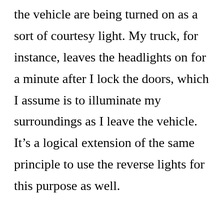the vehicle are being turned on as a sort of courtesy light. My truck, for instance, leaves the headlights on for a minute after I lock the doors, which I assume is to illuminate my surroundings as I leave the vehicle. It's a logical extension of the same principle to use the reverse lights for this purpose as well.

The problem is, reverse lights already mean something: the vehicle is in reverse. Moreover, when the reverse lights are used as courtesy lights, the brake lights and other tail